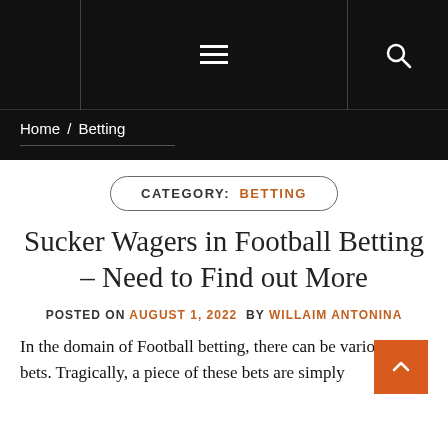≡  🔍
Home / Betting
CATEGORY:  BETTING
Sucker Wagers in Football Betting – Need to Find out More
POSTED ON AUGUST 1, 2022  BY WILLAIM ANTONINA
In the domain of Football betting, there can be various rash bets. Tragically, a piece of these bets are simply